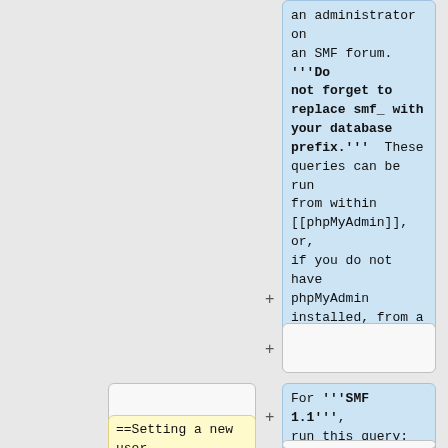an administrator on an SMF forum. '''Do not forget to replace smf_ with your database prefix.'''  These queries can be run from within [[phpMyAdmin]], or, if you do not have phpMyAdmin installed, from a simple single-purpose script.
For '''SMF 1.1''', run this query:
==Setting a new user